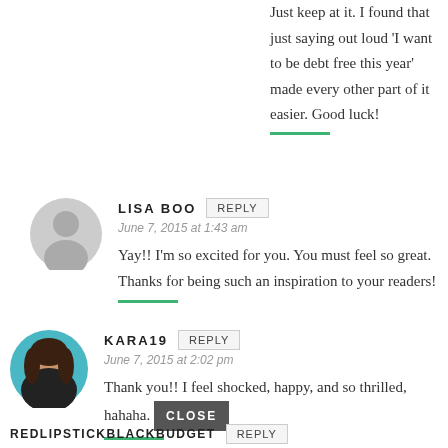Just keep at it. I found that just saying out loud 'I want to be debt free this year' made every other part of it easier. Good luck!
LISA BOO
June 7, 2015 at 1:43 am
Yay!! I'm so excited for you. You must feel so great. Thanks for being such an inspiration to your readers!
KARA19
June 7, 2015 at 2:02 pm
Thank you!! I feel shocked, happy, and so thrilled, hahaha.
REDLIPSTICKBLACKBUDGET